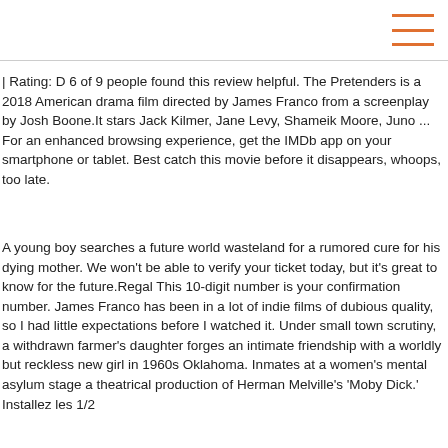hamburger menu icon
| Rating: D 6 of 9 people found this review helpful. The Pretenders is a 2018 American drama film directed by James Franco from a screenplay by Josh Boone.It stars Jack Kilmer, Jane Levy, Shameik Moore, Juno ... For an enhanced browsing experience, get the IMDb app on your smartphone or tablet. Best catch this movie before it disappears, whoops, too late.
A young boy searches a future world wasteland for a rumored cure for his dying mother. We won't be able to verify your ticket today, but it's great to know for the future.Regal This 10-digit number is your confirmation number. James Franco has been in a lot of indie films of dubious quality, so I had little expectations before I watched it. Under small town scrutiny, a withdrawn farmer's daughter forges an intimate friendship with a worldly but reckless new girl in 1960s Oklahoma. Inmates at a women's mental asylum stage a theatrical production of Herman Melville's 'Moby Dick.' Installez les 1/2